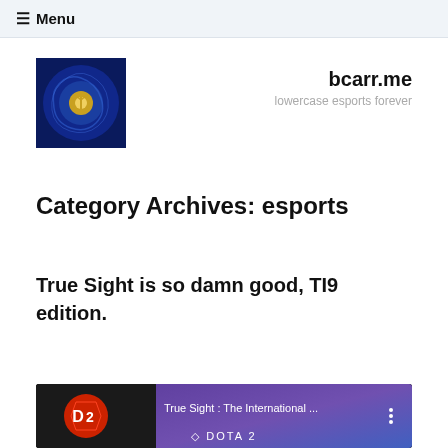≡ Menu
[Figure (screenshot): Website header with fantasy game thumbnail logo on left and site name 'bcarr.me' with tagline 'lowercase esports forever' on right]
bcarr.me
lowercase esports forever
Category Archives: esports
True Sight is so damn good, TI9 edition.
[Figure (screenshot): YouTube video thumbnail showing 'True Sight : The International ...' with Dota 2 logo and purple/blue background]